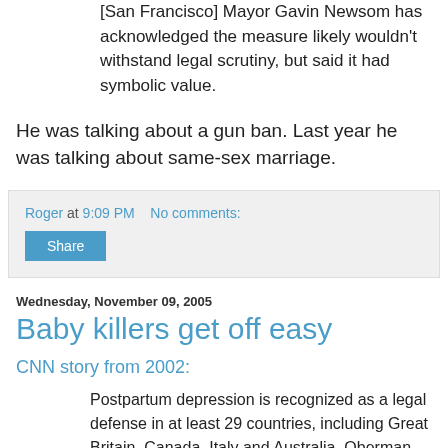[San Francisco] Mayor Gavin Newsom has acknowledged the measure likely wouldn't withstand legal scrutiny, but said it had symbolic value.
He was talking about a gun ban. Last year he was talking about same-sex marriage.
Roger at 9:09 PM   No comments:
Share
Wednesday, November 09, 2005
Baby killers get off easy
CNN story from 2002:
Postpartum depression is recognized as a legal defense in at least 29 countries, including Great Britain, Canada, Italy and Australia, Oberman said. Those countries have infanticide laws, which state that when a woman kills a child...